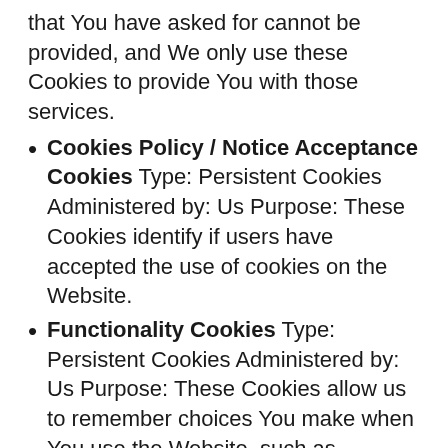that You have asked for cannot be provided, and We only use these Cookies to provide You with those services.
Cookies Policy / Notice Acceptance Cookies Type: Persistent Cookies Administered by: Us Purpose: These Cookies identify if users have accepted the use of cookies on the Website.
Functionality Cookies Type: Persistent Cookies Administered by: Us Purpose: These Cookies allow us to remember choices You make when You use the Website, such as remembering your login details or language preference. The purpose of these Cookies is to provide You with a more personal